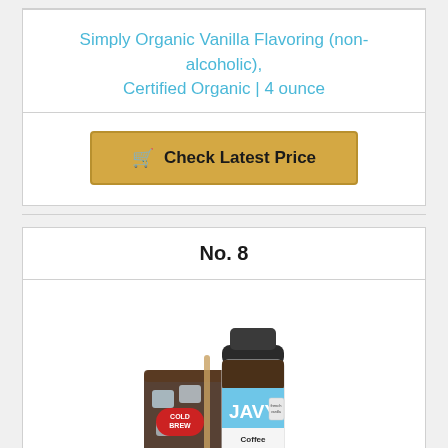Simply Organic Vanilla Flavoring (non-alcoholic), Certified Organic | 4 ounce
Check Latest Price
No. 8
[Figure (photo): Javy Coffee French Vanilla Concentrate bottle with cold brew glass of iced coffee]
Javy Coffee French Vanilla Concentrate Microdose 30X,